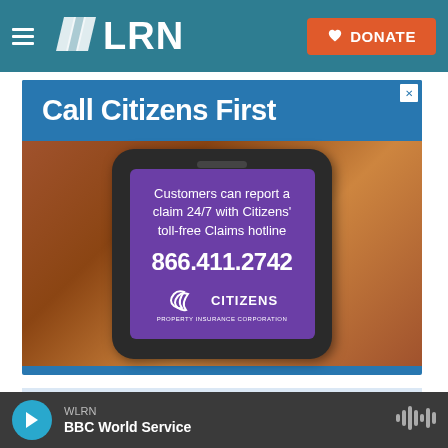[Figure (screenshot): WLRN website header navigation bar with hamburger menu, WLRN logo in white on teal background, and orange DONATE button with heart icon]
[Figure (screenshot): Citizens Property Insurance Corporation advertisement showing 'Call Citizens First' text on blue background, with smartphone image displaying purple screen text: 'Customers can report a claim 24/7 with Citizens' toll-free Claims hotline 866.411.2742' and Citizens logo]
[Figure (screenshot): VoLo Foundation advertisement showing globe logo icon and 'VoLoFoundation' text on light blue background]
[Figure (screenshot): WLRN audio player bar at bottom showing play button, station name WLRN, program BBC World Service, and waveform icon]